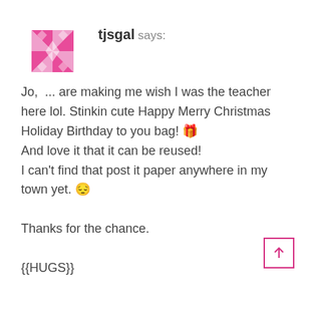[Figure (logo): Pink pinwheel/snowflake avatar icon made of diamond and triangle shapes]
tjsgal says:
Jo, ... are making me wish I was the teacher here lol. Stinkin cute Happy Merry Christmas Holiday Birthday to you bag! 🎁 And love it that it can be reused! I can't find that post it paper anywhere in my town yet. 😔

Thanks for the chance.

{{HUGS}}